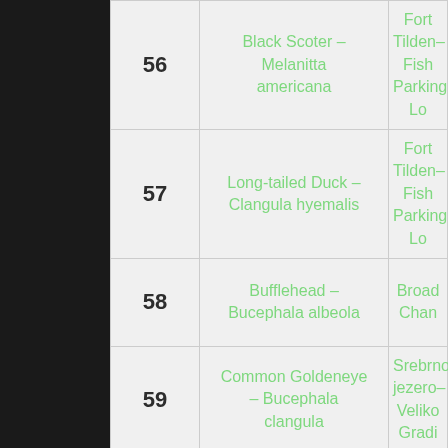| # | Species | Location |
| --- | --- | --- |
| 56 | Black Scoter – Melanitta americana | Fort Tilden–Fish Parking Lo |
| 57 | Long-tailed Duck – Clangula hyemalis | Fort Tilden–Fish Parking Lo |
| 58 | Bufflehead – Bucephala albeola | Broad Chan |
| 59 | Common Goldeneye – Bucephala clangula | Srebrno jezero– Veliko Gradi |
| 60 | Smew – Mergellus albellus | Srebrno jezero– Veliko Gra |